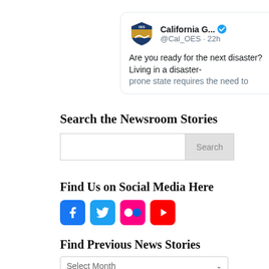[Figure (screenshot): Tweet card from @Cal_OES (California G...) with blue verified checkmark and Twitter bird icon. Text: 'Are you ready for the next disaster? Living in a disaster-prone state requires the need to' (truncated)]
Search the Newsroom Stories
[Figure (screenshot): Search input box with 'Search' button on the right]
Find Us on Social Media Here
[Figure (infographic): Social media icons: Facebook (blue), Twitter (blue), Flickr (pink), YouTube (red)]
Find Previous News Stories
[Figure (screenshot): Dropdown selector labeled 'Select Month' with chevron arrow]